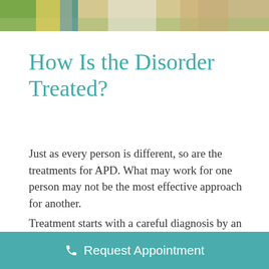[Figure (photo): Partial photo of people outdoors on grass, showing striped clothing and casual setting]
How Is the Disorder Treated?
Just as every person is different, so are the treatments for APD. What may work for one person may not be the most effective approach for another.
Treatment starts with a careful diagnosis by an audiologist and is individualized to the patient and his or her auditory
Request Appointment